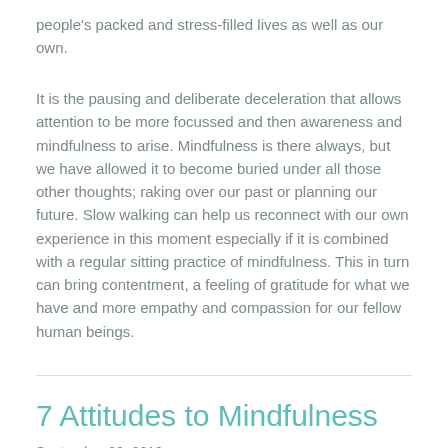people's packed and stress-filled lives as well as our own.
It is the pausing and deliberate deceleration that allows attention to be more focussed and then awareness and mindfulness to arise. Mindfulness is there always, but we have allowed it to become buried under all those other thoughts; raking over our past or planning our future. Slow walking can help us reconnect with our own experience in this moment especially if it is combined with a regular sitting practice of mindfulness. This in turn can bring contentment, a feeling of gratitude for what we have and more empathy and compassion for our fellow human beings.
7 Attitudes to Mindfulness
September 29, 2019